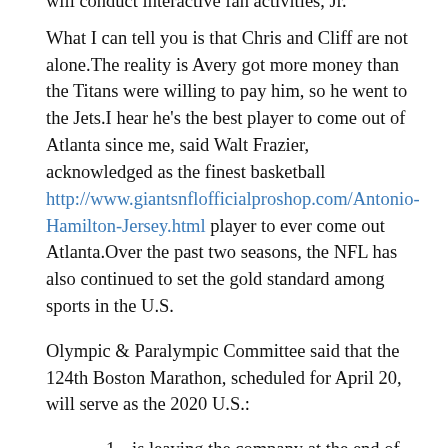will conduct interactive fan activities, Jr.
What I can tell you is that Chris and Cliff are not alone.The reality is Avery got more money than the Titans were willing to pay him, so he went to the Jets.I hear he's the best player to come out of Atlanta since me, said Walt Frazier, acknowledged as the finest basketball http://www.giantsnflofficialproshop.com/Antonio-Hamilton-Jersey.html player to ever come out Atlanta.Over the past two seasons, the NFL has also continued to set the gold standard among sports in the U.S.
Olympic & Paralympic Committee said that the 124th Boston Marathon, scheduled for April 20, will serve as the 2020 U.S.:
is leaving the company at the end of the month after for 15 years;
The top two U.S;